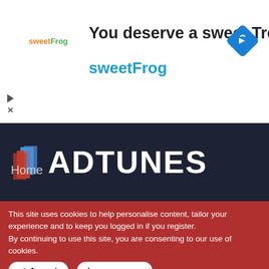[Figure (screenshot): Ad banner for sweetFrog frozen yogurt with logo, title text 'You deserve a sweet Treat', brand name 'sweetFrog', and a blue navigation/directions icon]
You deserve a sweet Treat
sweetFrog
[Figure (screenshot): Dark navy navigation panel with a tab showing an up chevron, Home menu item, and RSS feed icon]
Home
[Figure (logo): AdTunes logo with colorful paper/leaf icon and white bold text 'ADTUNES' on dark background]
This site uses cookies to help personalise content, tailor your experience and to keep you logged in if you register.
By continuing to use this site, you are consenting to our use of cookies.